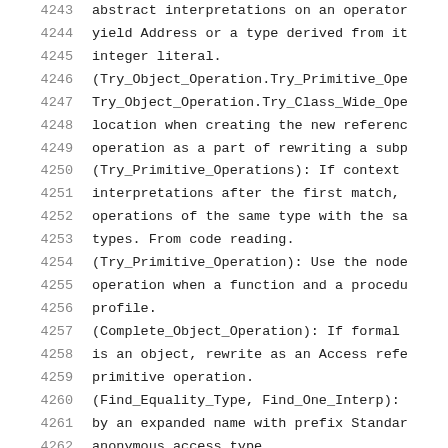| line | code |
| --- | --- |
| 4243 | abstract interpretations on an operator |
| 4244 | yield Address or a type derived from it |
| 4245 | integer literal. |
| 4246 | (Try_Object_Operation.Try_Primitive_Ope |
| 4247 | Try_Object_Operation.Try_Class_Wide_Ope |
| 4248 | location when creating the new referenc |
| 4249 | operation as a part of rewriting a subp |
| 4250 | (Try_Primitive_Operations): If context |
| 4251 | interpretations after the first match, |
| 4252 | operations of the same type with the sa |
| 4253 | types. From code reading. |
| 4254 | (Try_Primitive_Operation): Use the node |
| 4255 | operation when a function and a procedu |
| 4256 | profile. |
| 4257 | (Complete_Object_Operation): If formal |
| 4258 | is an object, rewrite as an Access refe |
| 4259 | primitive operation. |
| 4260 | (Find_Equality_Type, Find_One_Interp): |
| 4261 | by an expanded name with prefix Standar |
| 4262 | anonymous access type. |
| 4263 | (Remove_Abstract_Operations): If the op |
| 4264 | inherited by a user-defined type derive |